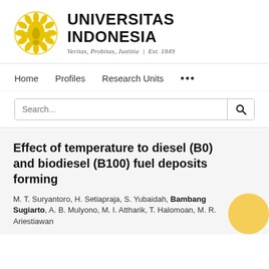[Figure (logo): Universitas Indonesia logo — golden stylized floral/garuda emblem, with text UNIVERSITAS INDONESIA in bold black, and italic tagline 'Veritas, Probitas, Justitia | Est. 1849']
Home   Profiles   Research Units   ...
Search...
Effect of temperature to diesel (B0) and biodiesel (B100) fuel deposits forming
M. T. Suryantoro, H. Setiapraja, S. Yubaidah, Bambang Sugiarto, A. B. Mulyono, M. I. Attharik, T. Halomoan, M. R. Ariestiawan